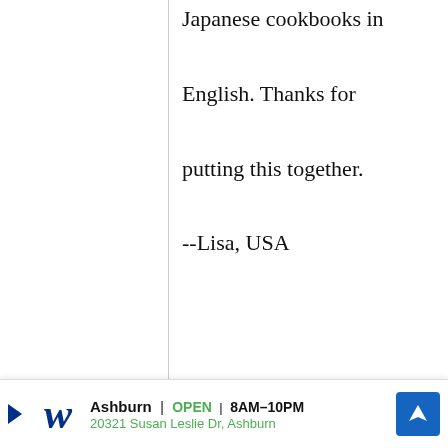Japanese cookbooks in English. Thanks for putting this together.

--Lisa, USA
ariel
6 December, 2008 - 02:52
permalink
Fanny Cradock! OMG
I would choose Fanny Cradock because I
[Figure (other): Advertisement banner for Walgreens showing logo, store location in Ashburn, open hours 8AM-10PM, address 20321 Susan Leslie Dr, Ashburn, and navigation icon]